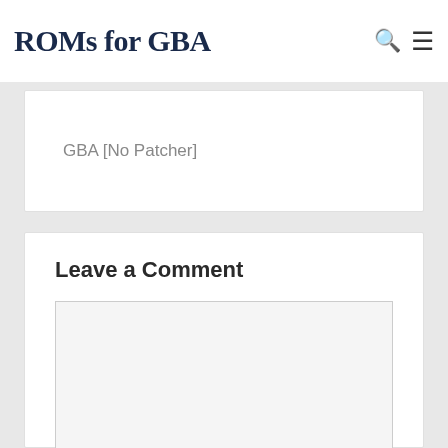ROMs for GBA
GBA [No Patcher]
Leave a Comment